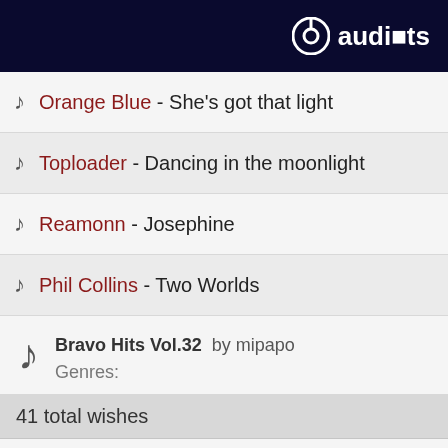audials
Orange Blue - She's got that light
Toploader - Dancing in the moonlight
Reamonn - Josephine
Phil Collins - Two Worlds
Bravo Hits Vol.32 by mipapo
Genres:
41 total wishes
Sugababes - Overload
Robbie Williams - Supreme